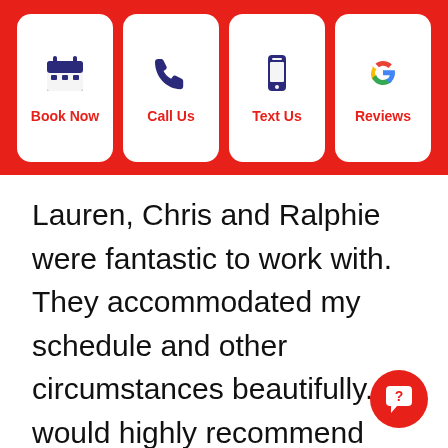[Figure (infographic): Top navigation bar with four action buttons: Book Now (calendar icon), Call Us (phone icon), Text Us (mobile icon), Reviews (Google G icon). Red background, white rounded rectangle buttons.]
Lauren, Chris and Ralphie were fantastic to work with. They accommodated my schedule and other circumstances beautifully. I would highly recommend them for all work.